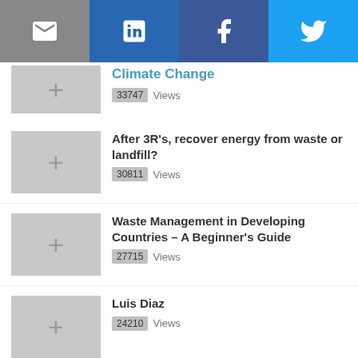[Figure (other): Social media sharing buttons: email (grey), LinkedIn (blue), Facebook (dark blue), Twitter (light blue) with respective icons]
Climate Change — 33747 Views
After 3R's, recover energy from waste or landfill? — 30811 Views
Waste Management in Developing Countries – A Beginner's Guide — 27715 Views
Luis Diaz — 24210 Views
Abby Barrows — 23822 Views
Integrating the Informal Waste Recycling Sector in Latin America